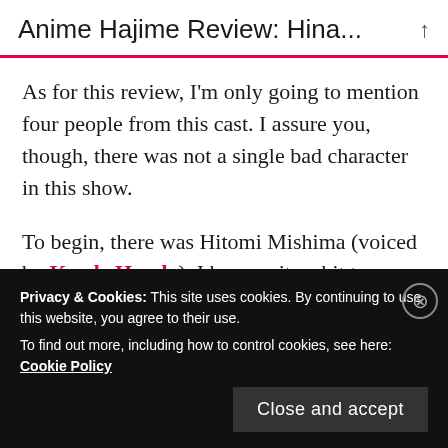Anime Hajime Review: Hina...
As for this review, I'm only going to mention four people from this cast. I assure you, though, there was not a single bad character in this show.
To begin, there was Hitomi Mishima (voiced by Kaede Hondo). I have quite a bit to say about her, except I'm going to hold off for now. The reason I'm bringing her up here is to make it clear
Privacy & Cookies: This site uses cookies. By continuing to use this website, you agree to their use. To find out more, including how to control cookies, see here: Cookie Policy
Close and accept